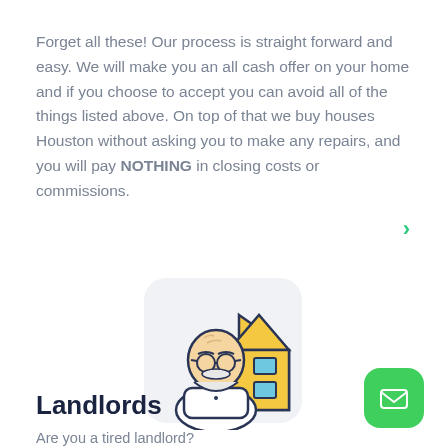Forget all these! Our process is straight forward and easy. We will make you an all cash offer on your home and if you choose to accept you can avoid all of the things listed above. On top of that we buy houses Houston without asking you to make any repairs, and you will pay NOTHING in closing costs or commissions.
[Figure (illustration): An illustrated icon of an elderly bald man with glasses, a white mustache and beard, wearing a teal bow tie and white shirt, standing in front of a yellow house with a triangular roof and windows, on a light gray rounded square background.]
Landlords
Are you a tired landlord?